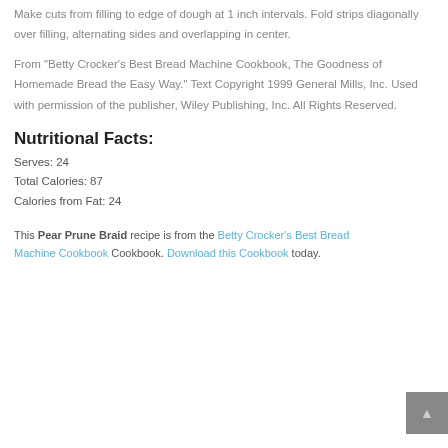Make cuts from filling to edge of dough at 1 inch intervals. Fold strips diagonally over filling, alternating sides and overlapping in center.
From "Betty Crocker's Best Bread Machine Cookbook, The Goodness of Homemade Bread the Easy Way." Text Copyright 1999 General Mills, Inc. Used with permission of the publisher, Wiley Publishing, Inc. All Rights Reserved.
Nutritional Facts:
Serves: 24
Total Calories: 87
Calories from Fat: 24
This Pear Prune Braid recipe is from the Betty Crocker's Best Bread Machine Cookbook Cookbook. Download this Cookbook today.